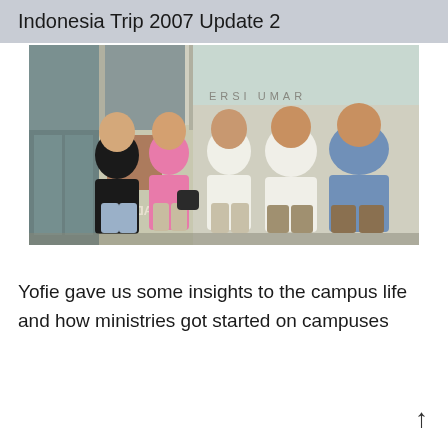Indonesia Trip 2007 Update 2
[Figure (photo): Group photo of five people standing outside a building. Two women on the left, one in black and one in pink with a shoulder bag; three men on the right, two in white shirts and one in a blue denim shirt.]
Yofie gave us some insights to the campus life and how ministries got started on campuses